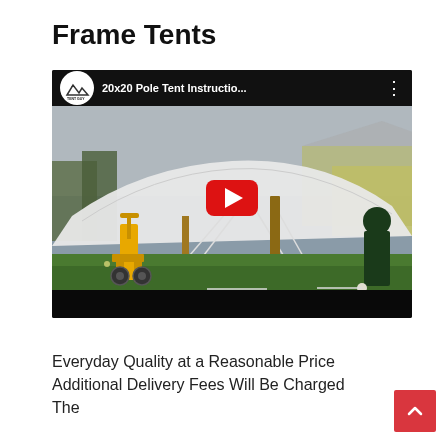Frame Tents
[Figure (screenshot): YouTube video thumbnail showing '20x20 Pole Tent Instructio...' with a Tent Guy channel logo and a scene of a white pole tent being erected on a lawn with a yellow hand truck nearby. A red play button is overlaid in the center.]
Everyday Quality at a Reasonable Price Additional Delivery Fees Will Be Charged The